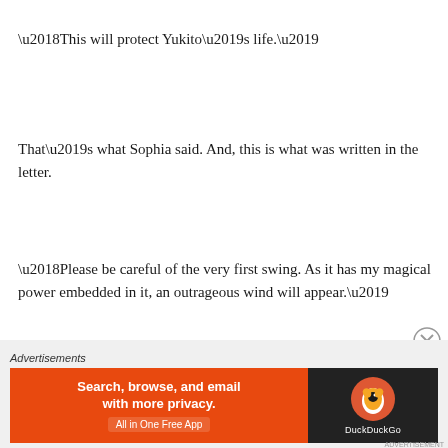‘This will protect Yukito’s life.’
That’s what Sophia said. And, this is what was written in the letter.
‘Please be careful of the very first swing. As it has my magical power embedded in it, an outrageous wind will appear.’
[Figure (other): Close button (X circle) for advertisement overlay]
Advertisements | Search, browse, and email with more privacy. All in One Free App | DuckDuckGo